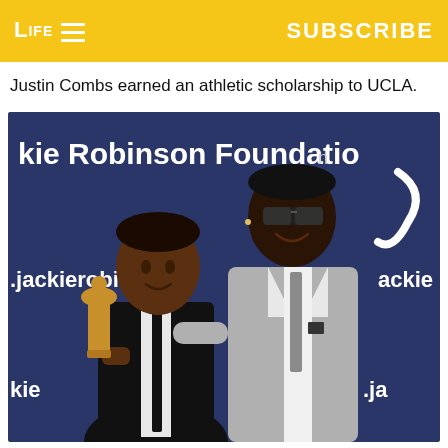LIFE   SUBSCRIBE
Justin Combs earned an athletic scholarship to UCLA.
[Figure (photo): Two men posing in front of a Jackie Robinson Foundation backdrop. On the left, a young man in a black suit and tie holds a bronze award trophy. On the right, a taller man in a grey suit with sunglasses has his arm around the younger man. The blue backdrop reads 'Jackie Robinson Foundation' and 'jackierobins...' with the Jackie Robinson Foundation logo.]